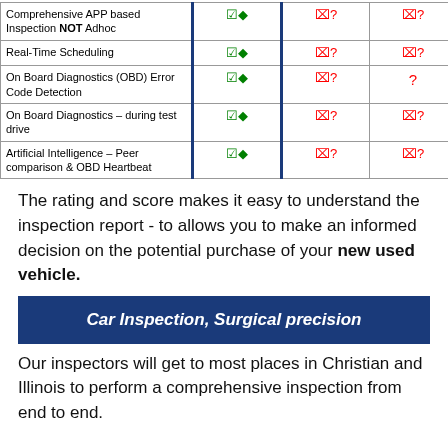| Feature | Col1 | Col2 | Col3 |
| --- | --- | --- | --- |
| Comprehensive APP based Inspection NOT Adhoc | ✔♦ | ✘? | ✘? |
| Real-Time Scheduling | ✔♦ | ✘? | ✘? |
| On Board Diagnostics (OBD) Error Code Detection | ✔♦ | ✘? | ? |
| On Board Diagnostics – during test drive | ✔♦ | ✘? | ✘? |
| Artificial Intelligence – Peer comparison & OBD Heartbeat | ✔♦ | ✘? | ✘? |
The rating and score makes it easy to understand the inspection report - to allows you to make an informed decision on the potential purchase of your new used vehicle.
Car Inspection, Surgical precision
Our inspectors will get to most places in Christian and Illinois to perform a comprehensive inspection from end to end.